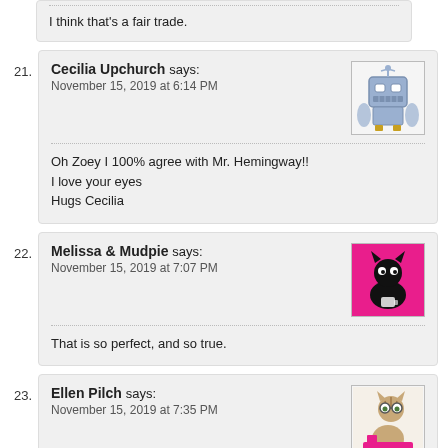I think that's a fair trade.
21. Cecilia Upchurch says: November 15, 2019 at 6:14 PM
Oh Zoey I 100% agree with Mr. Hemingway!!
I love your eyes
Hugs Cecilia
22. Melissa & Mudpie says: November 15, 2019 at 7:07 PM
That is so perfect, and so true.
23. Ellen Pilch says: November 15, 2019 at 7:35 PM